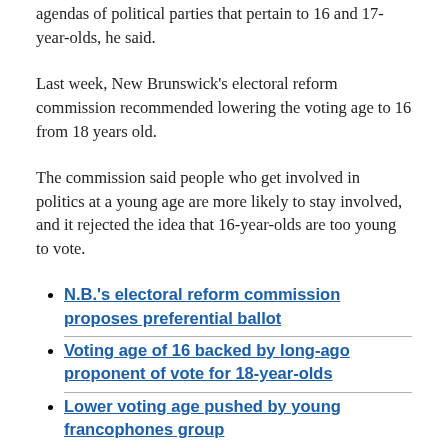agendas of political parties that pertain to 16 and 17-year-olds, he said.
Last week, New Brunswick’s electoral reform commission recommended lowering the voting age to 16 from 18 years old.
The commission said people who get involved in politics at a young age are more likely to stay involved, and it rejected the idea that 16-year-olds are too young to vote.
N.B.’s electoral reform commission proposes preferential ballot
Voting age of 16 backed by long-ago proponent of vote for 18-year-olds
Lower voting age pushed by young francophones group